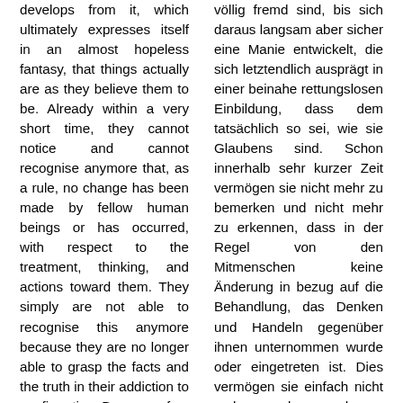develops from it, which ultimately expresses itself in an almost hopeless fantasy, that things actually are as they believe them to be. Already within a very short time, they cannot notice and cannot recognise anymore that, as a rule, no change has been made by fellow human beings or has occurred, with respect to the treatment, thinking, and actions toward them. They simply are not able to recognise this anymore because they are no longer able to grasp the facts and the truth in their addiction to confirmation. Because of
völlig fremd sind, bis sich daraus langsam aber sicher eine Manie entwickelt, die sich letztendlich ausprägt in einer beinahe rettungslosen Einbildung, dass dem tatsächlich so sei, wie sie Glaubens sind. Schon innerhalb sehr kurzer Zeit vermögen sie nicht mehr zu bemerken und nicht mehr zu erkennen, dass in der Regel von den Mitmenschen keine Änderung in bezug auf die Behandlung, das Denken und Handeln gegenüber ihnen unternommen wurde oder eingetreten ist. Dies vermögen sie einfach nicht mehr zu erkennen darum, weil sie in ihrer